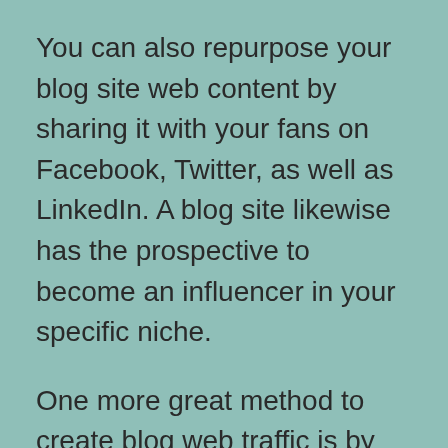You can also repurpose your blog site web content by sharing it with your fans on Facebook, Twitter, as well as LinkedIn. A blog site likewise has the prospective to become an influencer in your specific niche.
One more great method to create blog web traffic is by using calls-to-action. Calls-to-action overview your viewers to take the next action in your organization. A blog must be advertised to reach your target market, whether they're potential consumers or existing ones. Including a blog site to your site is a relatively inexpensive and very easy method to develop